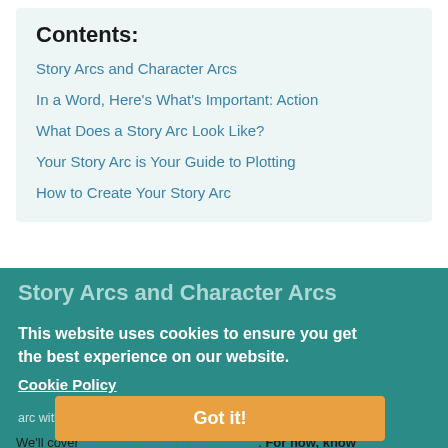Contents:
Story Arcs and Character Arcs
In a Word, Here's What's Important: Action
What Does a Story Arc Look Like?
Your Story Arc is Your Guide to Plotting
How to Create Your Story Arc
Story Arcs and Character Arcs
You might be wondering how story arcs are tied together in a narrative. Your story arc encompasses the relationships and the obstacles your main character struggles, endures, and overcomes throughout the story arc, the natural changes as a character by the end of the story. You can't have a story arc without a character arc.
This website uses cookies to ensure you get the best experience on our website.
Cookie Policy
Got it!
We'll cover character arc in another article. For now, know